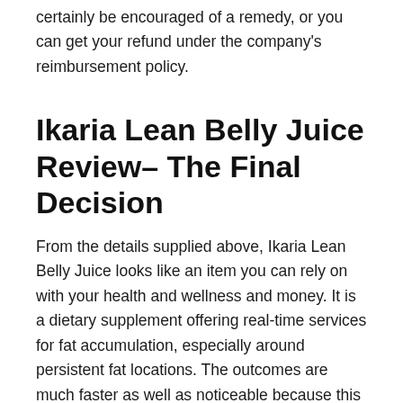certainly be encouraged of a remedy, or you can get your refund under the company's reimbursement policy.
Ikaria Lean Belly Juice Review– The Final Decision
From the details supplied above, Ikaria Lean Belly Juice looks like an item you can rely on with your health and wellness and money. It is a dietary supplement offering real-time services for fat accumulation, especially around persistent fat locations. The outcomes are much faster as well as noticeable because this formula targets the underlying threat aspects adding to weight